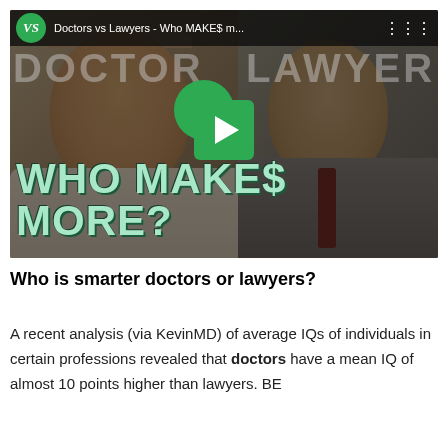[Figure (screenshot): YouTube video thumbnail showing two men — a doctor on the left wearing a headband and white coat, and a lawyer on the right in a gray suit with a red tie — with text overlay 'WHO MAKE$ MORE?' and a green play button in the center. Top banner shows 'Doctors vs Lawyers - Who MAKE$ m...' with a VS logo badge.]
Who is smarter doctors or lawyers?
A recent analysis (via KevinMD) of average IQs of individuals in certain professions revealed that doctors have a mean IQ of almost 10 points higher than lawyers. BE